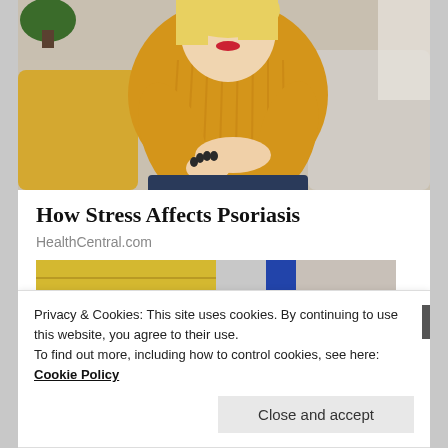[Figure (photo): Woman in yellow sweater sitting on a couch scratching her arm/elbow, showing psoriasis-related behavior]
How Stress Affects Psoriasis
HealthCentral.com
[Figure (photo): Partial view of a second article image, appears to be a store or indoor scene with colorful elements]
Privacy & Cookies: This site uses cookies. By continuing to use this website, you agree to their use.
To find out more, including how to control cookies, see here: Cookie Policy
Close and accept